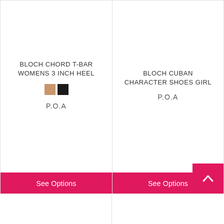BLOCH CHORD T-BAR WOMENS 3 INCH HEEL
P.O.A
See Options
BLOCH CUBAN CHARACTER SHOES GIRL
P.O.A
See Options